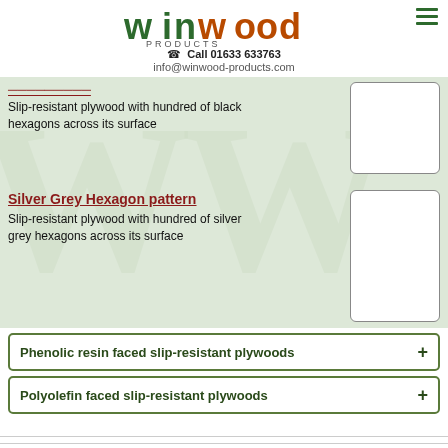[Figure (logo): Winwood Products logo with green and orange lettering]
☎ Call 01633 633763
info@winwood-products.com
Slip-resistant plywood with hundred of black hexagons across its surface
Silver Grey Hexagon pattern
Slip-resistant plywood with hundred of silver grey hexagons across its surface
Phenolic resin faced slip-resistant plywoods
Polyolefin faced slip-resistant plywoods
Terms   Legal   Privacy   Sitemap
info@winwood-products.com © 1999-2022 Winwood Products